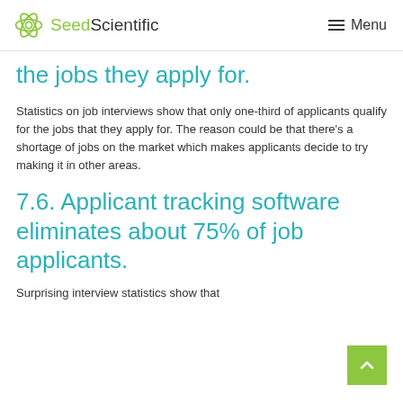SeedScientific  Menu
the jobs they apply for.
Statistics on job interviews show that only one-third of applicants qualify for the jobs that they apply for. The reason could be that there's a shortage of jobs on the market which makes applicants decide to try making it in other areas.
7.6. Applicant tracking software eliminates about 75% of job applicants.
Surprising interview statistics show that